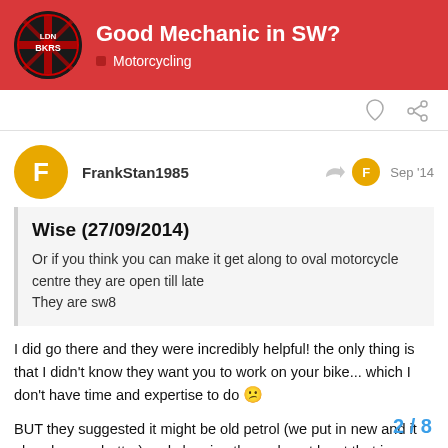Good Mechanic in SW? — Motorcycling
FrankStan1985   Sep '14
Wise (27/09/2014)
Or if you think you can make it get along to oval motorcycle centre they are open till late
They are sw8
I did go there and they were incredibly helpful! the only thing is that I didn't know they want you to work on your bike... which I don't have time and expertise to do 😕
BUT they suggested it might be old petrol (we put in new and it already goes better) and cleaning the carbs. at least that is an indication.
2 / 8